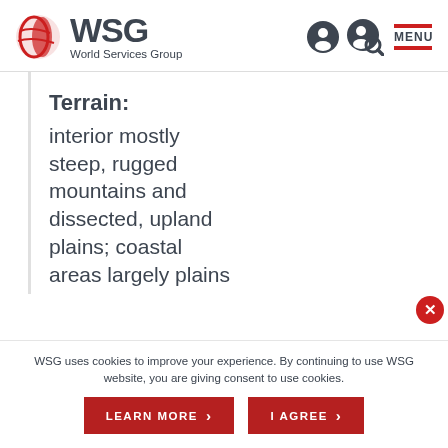WSG World Services Group — navigation header with logo, user icons, search icon, and MENU button
Terrain:
interior mostly steep, rugged mountains and dissected, upland plains; coastal areas largely plains
WSG uses cookies to improve your experience. By continuing to use WSG website, you are giving consent to use cookies.